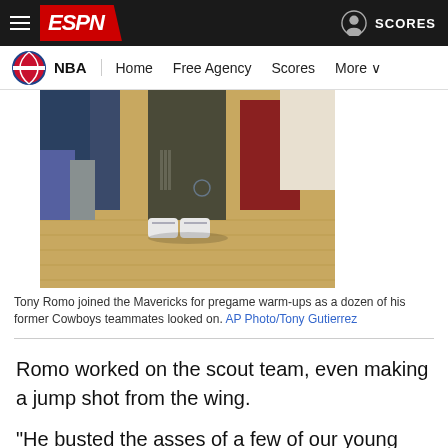ESPN NBA Navigation - Home, Free Agency, Scores, More
[Figure (photo): Photo of a person wearing Mavericks warm-up pants and white sneakers standing on a basketball court, with other people visible in the background.]
Tony Romo joined the Mavericks for pregame warm-ups as a dozen of his former Cowboys teammates looked on. AP Photo/Tony Gutierrez
Romo worked on the scout team, even making a jump shot from the wing.
"He busted the asses of a few of our young guys out there,"